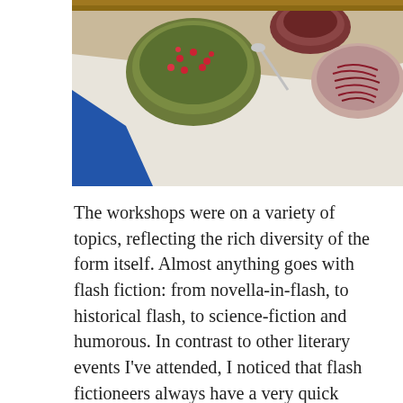[Figure (photo): Overhead view of a table with several large bowls/plates of food — including a bowl of tabbouleh-style salad with pomegranate seeds, a plate of dark leafy salad, and a large plate of red cabbage slaw. A blue and white tablecloth is visible beneath the dishes.]
The workshops were on a variety of topics, reflecting the rich diversity of the form itself. Almost anything goes with flash fiction: from novella-in-flash, to historical flash, to science-fiction and humorous. In contrast to other literary events I've attended, I noticed that flash fictioneers always have a very quick comeback, a witty turn of phrase. I struggled to keep up: I was barely warming up in the writing exercises and they would come up with a piece that sounded very polished. Perhaps it's like sprinting vs. long distance running. Here, it was all about the twist and the word play – perhaps because they have to condense such a lot, that every word counts. It's also a way of observing the world: